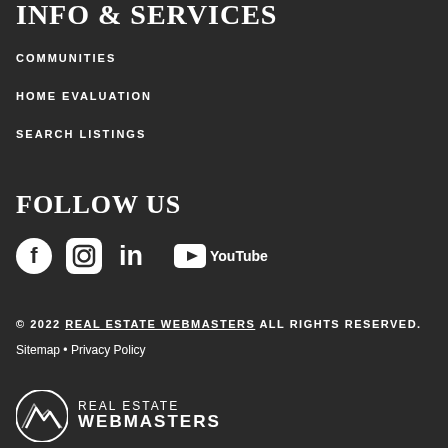INFO & SERVICES
COMMUNITIES
HOME EVALUATION
SEARCH LISTINGS
FOLLOW US
[Figure (other): Social media icons: Facebook, Instagram, LinkedIn, YouTube]
© 2022 REAL ESTATE WEBMASTERS ALL RIGHTS RESERVED.
Sitemap • Privacy Policy
[Figure (logo): Real Estate Webmasters logo with mountain icon and text REAL ESTATE WEBMASTERS]